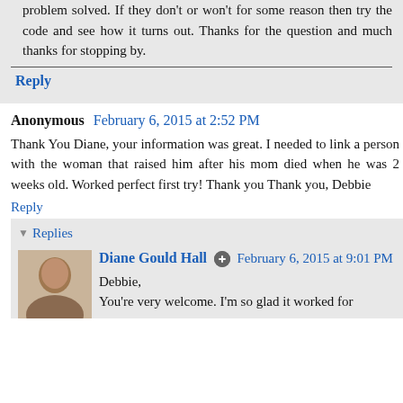problem solved. If they don't or won't for some reason then try the code and see how it turns out. Thanks for the question and much thanks for stopping by.
Reply
Anonymous  February 6, 2015 at 2:52 PM
Thank You Diane, your information was great. I needed to link a person with the woman that raised him after his mom died when he was 2 weeks old. Worked perfect first try! Thank you Thank you, Debbie
Reply
Replies
Diane Gould Hall  February 6, 2015 at 9:01 PM
Debbie,
You're very welcome. I'm so glad it worked for